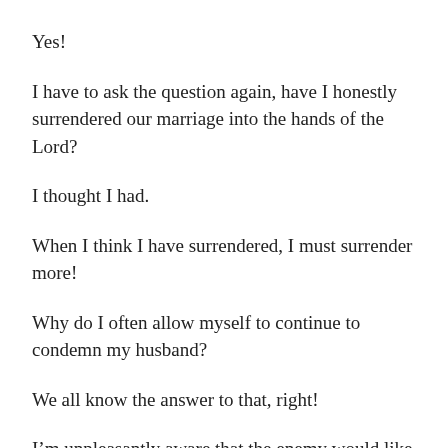Yes!
I have to ask the question again, have I honestly surrendered our marriage into the hands of the Lord?
I thought I had.
When I think I have surrendered, I must surrender more!
Why do I often allow myself to continue to condemn my husband?
We all know the answer to that, right!
I’m unpleasantly aware that the enemy would like nothing more than to destroy our marriage.